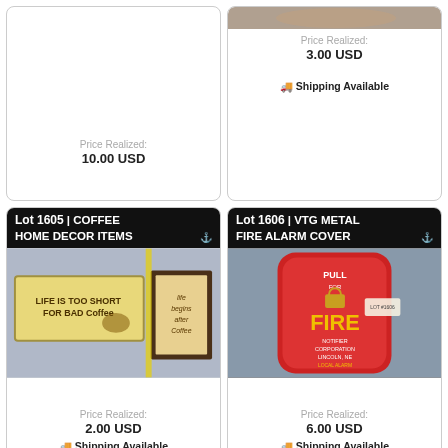Price Realized: 10.00 USD
Price Realized: 3.00 USD
🚚 Shipping Available
Lot 1605 | COFFEE HOME DECOR ITEMS
[Figure (photo): Coffee-themed home decor signs: one reading 'LIFE IS TOO SHORT FOR BAD Coffee' and another framed sign reading 'life begins after Coffee']
Price Realized: 2.00 USD
🚚 Shipping Available
Lot 1606 | VTG METAL FIRE ALARM COVER
[Figure (photo): Vintage red metal fire alarm cover reading PULL FOR FIRE, Notifier Corporation, Lincoln, NE with LOT #1606 tag]
Price Realized: 6.00 USD
🚚 Shipping Available